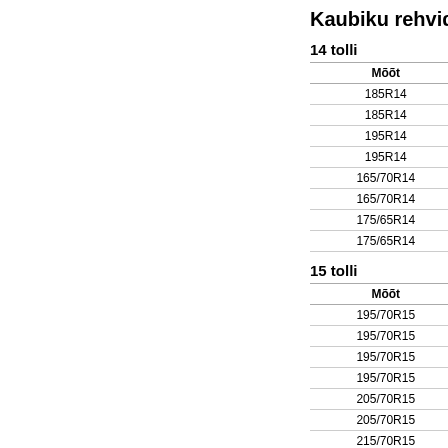Kaubiku rehvid
14 tolli
| Mõõt | B |
| --- | --- |
| 185R14 | CONT |
| 185R14 | GIS |
| 195R14 | CONT |
| 195R14 | GIS |
| 165/70R14 | CONT |
| 165/70R14 | CONT |
| 175/65R14 | CONT |
| 175/65R14 | CONT |
15 tolli
| Mõõt | B |
| --- | --- |
| 195/70R15 | CONT |
| 195/70R15 | GIS |
| 195/70R15 | CONT |
| 195/70R15 | GIS |
| 205/70R15 | CONT |
| 205/70R15 | CONT |
| 215/70R15 | CONT |
| 225/70R15 | CONT |